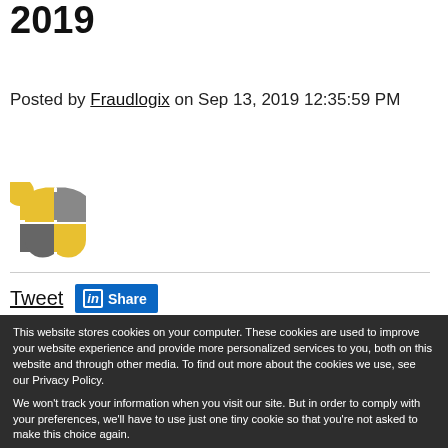2019
Posted by Fraudlogix on Sep 13, 2019 12:35:59 PM
[Figure (logo): Fraudlogix logo: four quadrant shield shape with yellow, gray, and dark-gray segments]
Tweet   Share
This website stores cookies on your computer. These cookies are used to improve your website experience and provide more personalized services to you, both on this website and through other media. To find out more about the cookies we use, see our Privacy Policy.

We won't track your information when you visit our site. But in order to comply with your preferences, we'll have to use just one tiny cookie so that you're not asked to make this choice again.
Accept   Decline